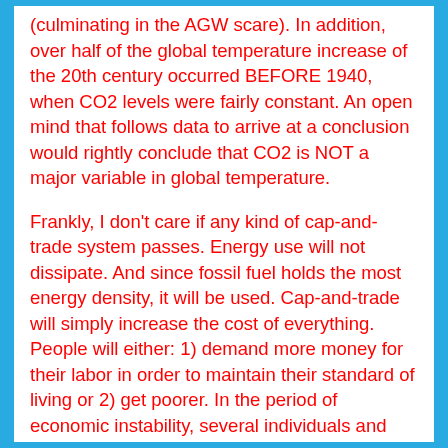(culminating in the AGW scare). In addition, over half of the global temperature increase of the 20th century occurred BEFORE 1940, when CO2 levels were fairly constant. An open mind that follows data to arrive at a conclusion would rightly conclude that CO2 is NOT a major variable in global temperature.
Frankly, I don't care if any kind of cap-and-trade system passes. Energy use will not dissipate. And since fossil fuel holds the most energy density, it will be used. Cap-and-trade will simply increase the cost of everything. People will either: 1) demand more money for their labor in order to maintain their standard of living or 2) get poorer. In the period of economic instability, several individuals and companies will get VERY rich.